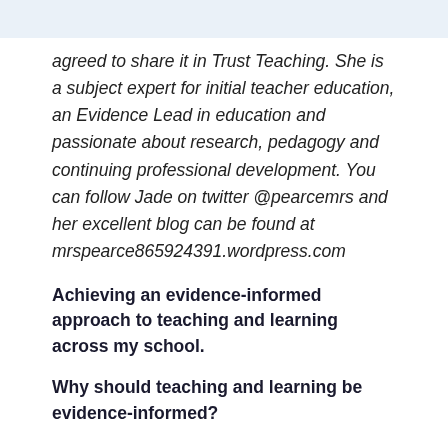agreed to share it in Trust Teaching. She is a subject expert for initial teacher education, an Evidence Lead in education and passionate about research, pedagogy and continuing professional development. You can follow Jade on twitter @pearcemrs and her excellent blog can be found at mrspearce865924391.wordpress.com
Achieving an evidence-informed approach to teaching and learning across my school.
Why should teaching and learning be evidence-informed?